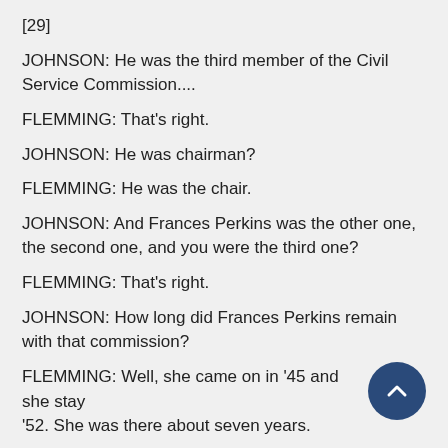[29]
JOHNSON: He was the third member of the Civil Service Commission....
FLEMMING: That's right.
JOHNSON: He was chairman?
FLEMMING: He was the chair.
JOHNSON: And Frances Perkins was the other one, the second one, and you were the third one?
FLEMMING: That's right.
JOHNSON: How long did Frances Perkins remain with that commission?
FLEMMING: Well, she came on in '45 and she stayed until '52. She was there about seven years.